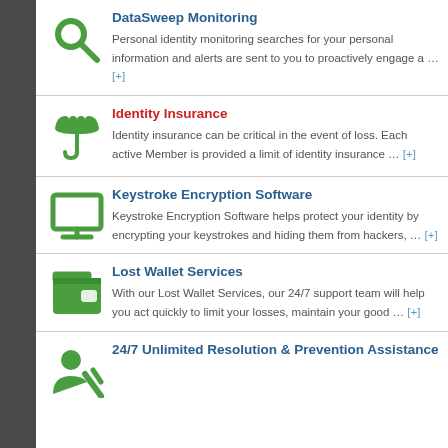DataSweep Monitoring: Personal identity monitoring searches for your personal information and alerts are sent to you to proactively engage a … [+]
Identity Insurance: Identity insurance can be critical in the event of loss. Each active Member is provided a limit of identity insurance … [+]
Keystroke Encryption Software: Keystroke Encryption Software helps protect your identity by encrypting your keystrokes and hiding them from hackers, … [+]
Lost Wallet Services: With our Lost Wallet Services, our 24/7 support team will help you act quickly to limit your losses, maintain your good … [+]
24/7 Unlimited Resolution & Prevention Assistance